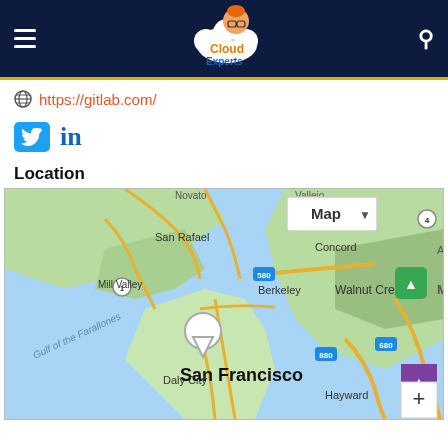Cloud Experts — navigation header with hamburger menu and search icon
https://gitlab.com/
[Figure (logo): Twitter bird logo icon (blue square) and LinkedIn 'in' text logo]
Location
[Figure (map): Google Maps showing San Francisco Bay Area including San Rafael, Mill Valley, Berkeley, San Francisco, Daly City, Hayward, Walnut Creek, Concord. A location pin is placed on San Francisco. Roads 580, 880, 680 visible. Gulf of the Farallones labeled. Map type selector button visible top right. Zoom controls bottom right.]